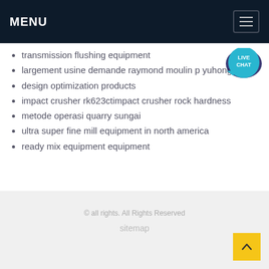MENU
transmission flushing equipment
largement usine demande raymond moulin p yuhong
design optimization products
impact crusher rk623ctimpact crusher rock hardness
metode operasi quarry sungai
ultra super fine mill equipment in north america
ready mix equipment equipment
© all rights. All Rights Reserved
sitemap